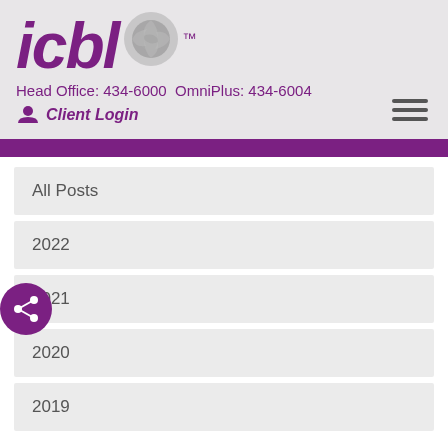[Figure (logo): ICBL logo with stylized text 'icbl' in purple italic and a grey camera lens icon, with TM mark]
Head Office: 434-6000 OmniPlus: 434-6004
Client Login
All Posts
2022
2021
2020
2019